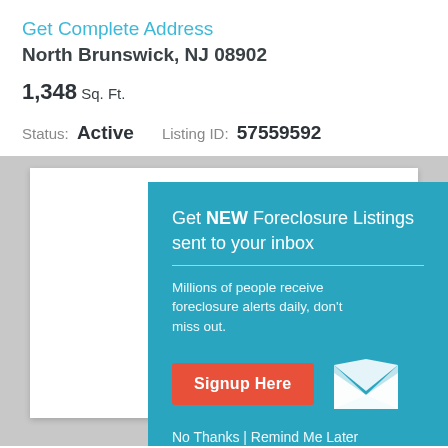Get Complete Address
North Brunswick, NJ 08902
1,348 Sq. Ft.
Status: Active    Listing ID: 57559592
[Figure (infographic): Teal popup overlay on a gray background with white card shadow. Contains headline 'Get NEW Foreclosure Listings sent to your inbox', a divider, descriptive text, a red Signup Here button, envelope icon, and links 'No Thanks | Remind Me Later'.]